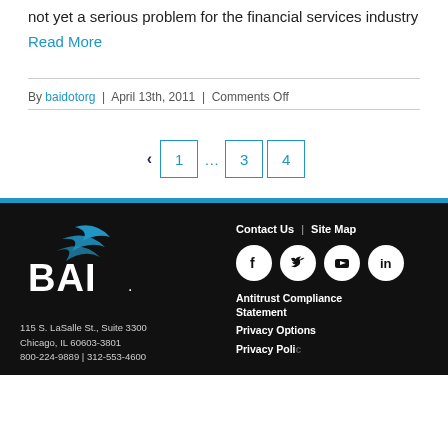not yet a serious problem for the financial services industry
Read More
By baidotorg | April 13th, 2011 | Comments Off
« 1 … 3 4
[Figure (logo): BAI logo with blue swoosh graphic above white 'BAI.' text on black background]
115 S. LaSalle St., Suite 3300
Chicago, IL 60603-3801
800-224-9889 | 312-553-4600
Contact Us | Site Map
[Figure (infographic): Four social media icons: Facebook, Twitter, YouTube, LinkedIn — white icons on black circular backgrounds]
Antitrust Compliance Statement
Privacy Options
Privacy Policy